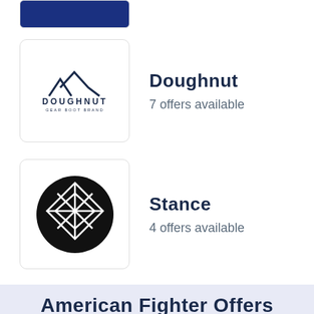[Figure (logo): Blue rectangle logo at top]
Doughnut
7 offers available
[Figure (logo): Doughnut brand logo with mountain and text DOUGHNUT GEAR BOOT BRAND]
Stance
4 offers available
[Figure (logo): Stance black circle logo with diamond grid pattern]
American Fighter Offers
Coupons 3
Sales 3
Sign Up 1